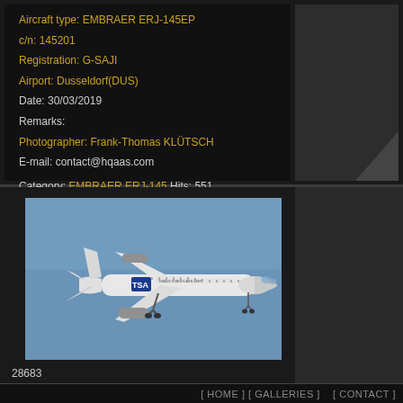Aircraft type: EMBRAER ERJ-145EP
c/n: 145201
Registration: G-SAJI
Airport: Dusseldorf(DUS)
Date: 30/03/2019
Remarks:
Photographer: Frank-Thomas KLÜTSCH
E-mail: contact@hqaas.com

Category: EMBRAER ERJ-145 Hits: 551
[Figure (photo): Embraer ERJ-145 aircraft of Trans States Airlines in flight against a blue sky, with landing gear deployed, TSA livery visible on fuselage]
28683
Airline: TRANS STATES AIRLINES
[ HOME ] [ GALLERIES ]    [ CONTACT ]